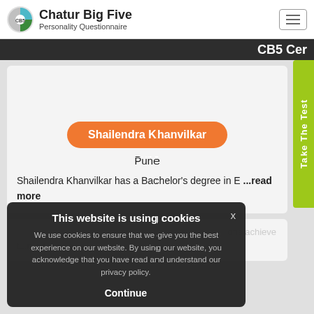Chatur Big Five Personality Questionnaire
CB5 Cer
Shailendra Khanvilkar
Pune
Shailendra Khanvilkar has a Bachelor's degree in E ...read more
[Figure (screenshot): Cookie consent overlay with title 'This website is using cookies', body text about cookies and privacy policy, and a Continue button with an X close button]
ons achieve
t...read more
Take The Test